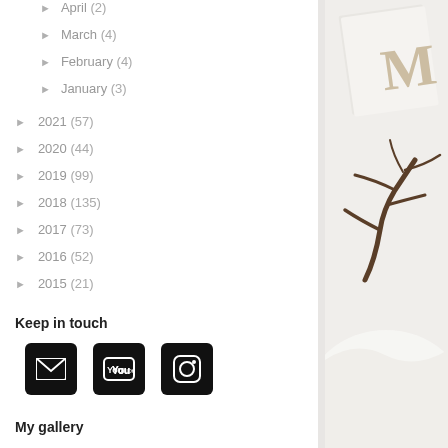► April (2)
► March (4)
► February (4)
► January (3)
► 2021 (57)
► 2020 (44)
► 2019 (99)
► 2018 (135)
► 2017 (73)
► 2016 (52)
► 2015 (21)
Keep in touch
[Figure (infographic): Social media icons: email (envelope), YouTube, Instagram]
My gallery
Instagram
[Figure (photo): Right side photo showing branches and letter M print on white background]